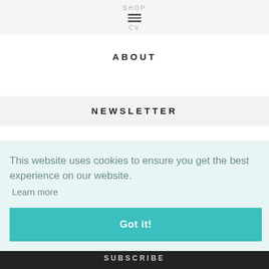SHOP / CV
ABOUT
NEWSLETTER
This website uses cookies to ensure you get the best experience on our website. Learn more
Got it!
SUBSCRIBE